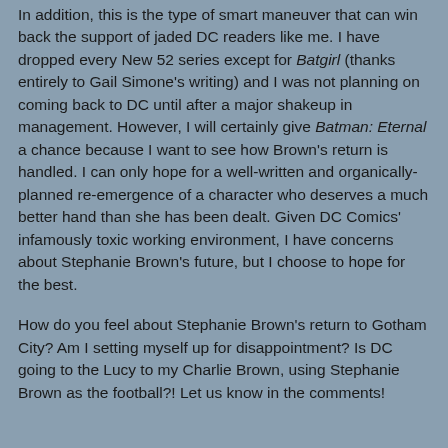In addition, this is the type of smart maneuver that can win back the support of jaded DC readers like me. I have dropped every New 52 series except for Batgirl (thanks entirely to Gail Simone's writing) and I was not planning on coming back to DC until after a major shakeup in management. However, I will certainly give Batman: Eternal a chance because I want to see how Brown's return is handled. I can only hope for a well-written and organically-planned re-emergence of a character who deserves a much better hand than she has been dealt. Given DC Comics' infamously toxic working environment, I have concerns about Stephanie Brown's future, but I choose to hope for the best.
How do you feel about Stephanie Brown's return to Gotham City? Am I setting myself up for disappointment? Is DC going to the Lucy to my Charlie Brown, using Stephanie Brown as the football?! Let us know in the comments!